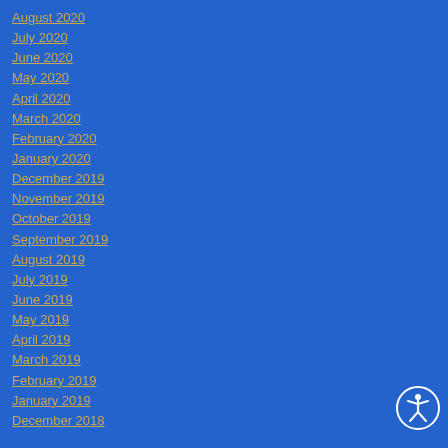August 2020
July 2020
June 2020
May 2020
April 2020
March 2020
February 2020
January 2020
December 2019
November 2019
October 2019
September 2019
August 2019
July 2019
June 2019
May 2019
April 2019
March 2019
February 2019
January 2019
December 2018
[Figure (illustration): Accessibility icon - circular symbol showing a human figure with arms and legs extended, white outline on blue circle background, bottom right corner]